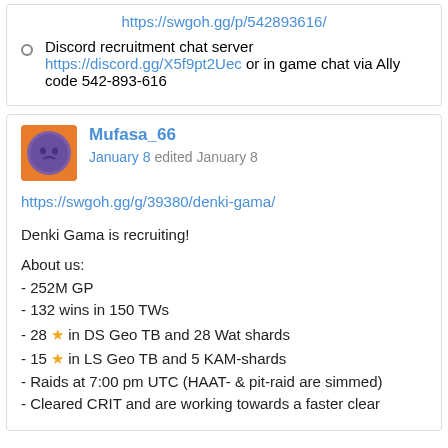Discord recruitment chat server https://discord.gg/X5f9pt2Uec or in game chat via Ally code 542-893-616
Mufasa_66
January 8 edited January 8
https://swgoh.gg/g/39380/denki-gama/
Denki Gama is recruiting!

About us:
- 252M GP
- 132 wins in 150 TWs
- 28 ★ in DS Geo TB and 28 Wat shards
- 15 ★ in LS Geo TB and 5 KAM-shards
- Raids at 7:00 pm UTC (HAAT- & pit-raid are simmed)
- Cleared CRIT and are working towards a faster clear